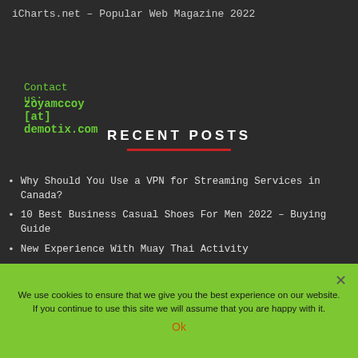iCharts.net – Popular Web Magazine 2022
Contact us:
zoyamccoy [at] demotix.com
RECENT POSTS
Why Should You Use a VPN for Streaming Services in Canada?
10 Best Business Casual Shoes For Men 2022 – Buying Guide
New Experience With Muay Thai Activity
We use cookies to ensure that we give you the best experience on our website. If you continue to use this site we will assume that you are happy with it.
Ok